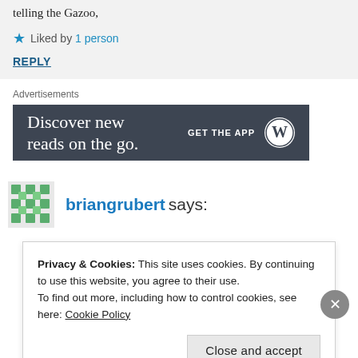telling the Gazoo,
Liked by 1 person
REPLY
Advertisements
[Figure (screenshot): WordPress app advertisement banner with dark background reading 'Discover new reads on the go.' and 'GET THE APP' with WordPress logo]
briangrubert says:
Privacy & Cookies: This site uses cookies. By continuing to use this website, you agree to their use.
To find out more, including how to control cookies, see here: Cookie Policy
Close and accept